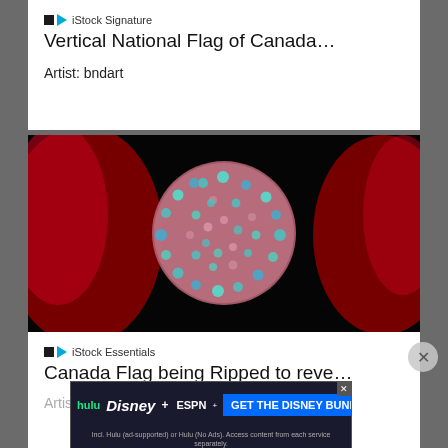iStock Signature
Vertical National Flag of Canada…
Artist: bndart
[Figure (photo): 3D rendering of a virus or pathogen sphere with colorful spikes on a dark background with red elements]
iStock Essentials
Canada Flag being Ripped to reve…
Artist: circolasu
[Figure (infographic): Advertisement banner for Disney Bundle featuring Hulu, Disney+, and ESPN+ logos with 'GET THE DISNEY BUNDLE' call to action]